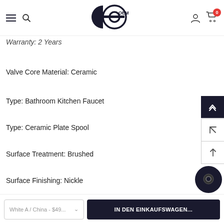GC OEM logo with hamburger menu, search, user icon, cart (0)
Warranty: 2 Years
Valve Core Material: Ceramic
Type: Bathroom Kitchen Faucet
Type: Ceramic Plate Spool
Surface Treatment: Brushed
Surface Finishing: Nickle
White A / China - $49... | IN DEN EINKAUFSWAGEN...